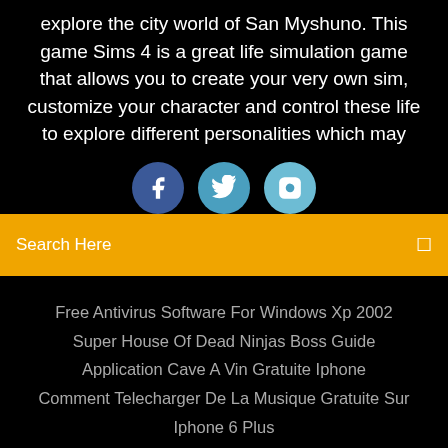explore the city world of San Myshuno. This game Sims 4 is a great life simulation game that allows you to create your very own sim, customize your character and control these life to explore different personalities which may
[Figure (illustration): Three social media icon buttons: Facebook (dark blue circle with 'f'), Twitter (teal circle with bird icon), Instagram (light blue circle with camera icon)]
Search Here
Free Antivirus Software For Windows Xp 2002
Super House Of Dead Ninjas Boss Guide
Application Cave A Vin Gratuite Iphone
Comment Telecharger De La Musique Gratuite Sur Iphone 6 Plus
Copyright ©2022 All rights reserved | This template is made